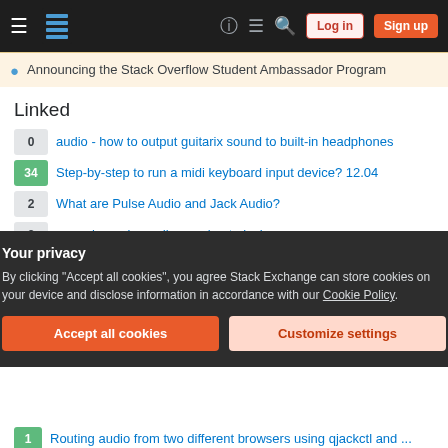Stack Overflow navigation bar with Log in and Sign up buttons
Announcing the Stack Overflow Student Ambassador Program
Linked
0 — audio - how to output guitarix sound to built-in headphones
34 — Step-by-step to run a midi keyboard input device? 12.04
2 — What are Pulse Audio and Jack Audio?
3 — removing pulseaudio, moving to jack
1 — Video doesn't run when Jack Audio Connection Kit is on
Your privacy
By clicking "Accept all cookies", you agree Stack Exchange can store cookies on your device and disclose information in accordance with our Cookie Policy.
1 — Routing audio from two different browsers using qjackctl and ...